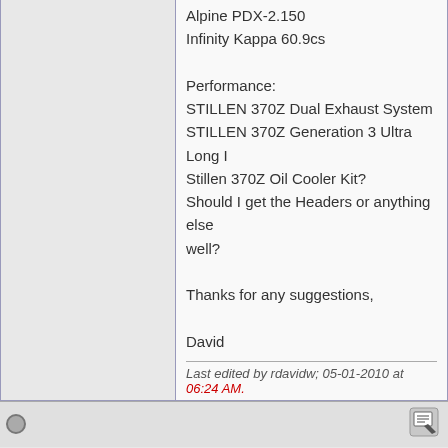370Z In-dash Receiver Kit
Alpine PDX-2.150
Infinity Kappa 60.9cs

Performance:
STILLEN 370Z Dual Exhaust System
STILLEN 370Z Generation 3 Ultra Long I...
Stillen 370Z Oil Cooler Kit?
Should I get the Headers or anything else well?

Thanks for any suggestions,

David
Last edited by rdavidw; 05-01-2010 at 06:24 AM.
06-29-2010, 03:46 AM   #2 (permalink)
george
Base Member
Join Date: Oct 2009
Location: hongkong
Posts: 38
Drives: 04 nissan350zCSm6
Rep Power: 13
I guess none, it looks fine to me.
Gauloises Cigarettes
ParliamentCigarettes